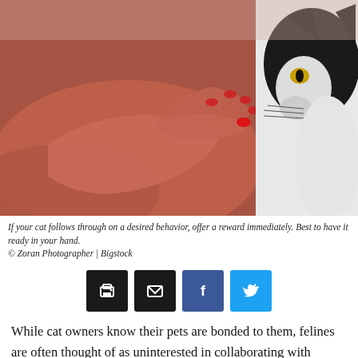[Figure (photo): Close-up photo of a human hand with red fingernails extended toward a black and white cat's nose, as if the cat is sniffing the hand. The hand appears reddish-toned and the cat is partially visible on the right side.]
If your cat follows through on a desired behavior, offer a reward immediately. Best to have it ready in your hand.
© Zoran Photographer | Bigstock
[Figure (infographic): Row of four social sharing buttons: print (black), email (black), Facebook (blue), Twitter (cyan)]
While cat owners know their pets are bonded to them, felines are often thought of as uninterested in collaborating with people. It's believed all communication has to be entirely on